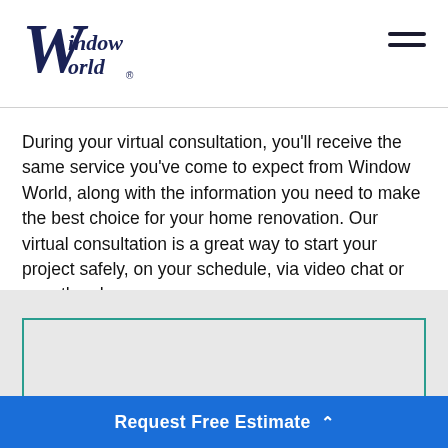Window World
During your virtual consultation, you'll receive the same service you've come to expect from Window World, along with the information you need to make the best choice for your home renovation. Our virtual consultation is a great way to start your project safely, on your schedule, via video chat or over the phone.
[Figure (other): Grey form input box with teal/green border, partially visible — appears to be a form field for user input]
Request Free Estimate ^